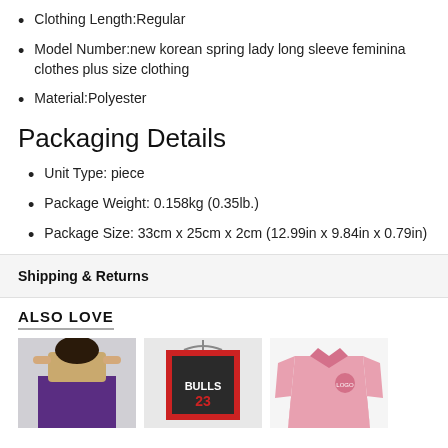Clothing Length:Regular
Model Number:new korean spring lady long sleeve feminina clothes plus size clothing
Material:Polyester
Packaging Details
Unit Type: piece
Package Weight: 0.158kg (0.35lb.)
Package Size: 33cm x 25cm x 2cm (12.99in x 9.84in x 0.79in)
Shipping & Returns
ALSO LOVE
[Figure (photo): Three product photos: a purple dress, a Bulls jersey, and a pink jacket]